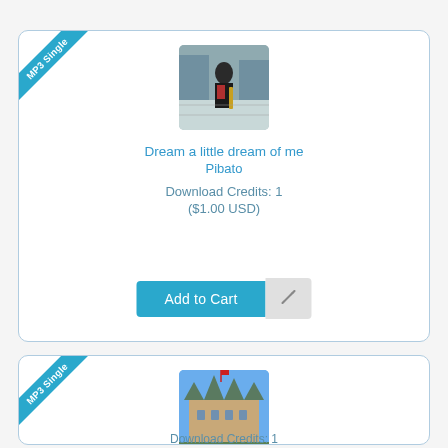[Figure (other): MP3 Single product card for 'Dream a little dream of me' by Pibato. Shows album art of a person with instrument outdoors, title, artist, Download Credits: 1 ($1.00 USD), and Add to Cart button.]
Dream a little dream of me
Pibato

Download Credits: 1
($1.00 USD)
[Figure (other): MP3 Single product card for 'Envoyons d'l'avant nos gens' by Pibato. Shows album art of chateau building, title, artist, and partial Download Credits text.]
Envoyons d'l'avant nos gens
Pibato